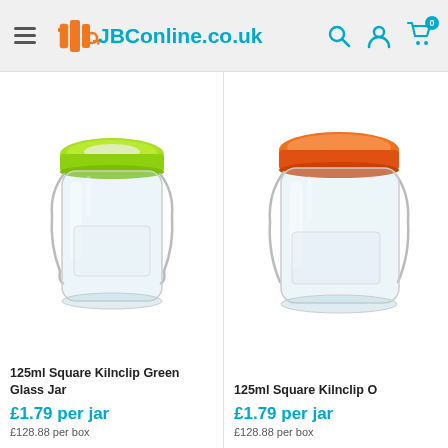JBConline.co.uk
[Figure (photo): 125ml Square Kilnclip Green Glass Jar with green lid, clear glass body, wire bail closure]
125ml Square Kilnclip Green Glass Jar
£1.79 per jar
£128.88 per box
[Figure (photo): 125ml Square Kilnclip glass jar with orange lid, partially cropped on right side]
125ml Square Kilnclip O
£1.79 per jar
£128.88 per box